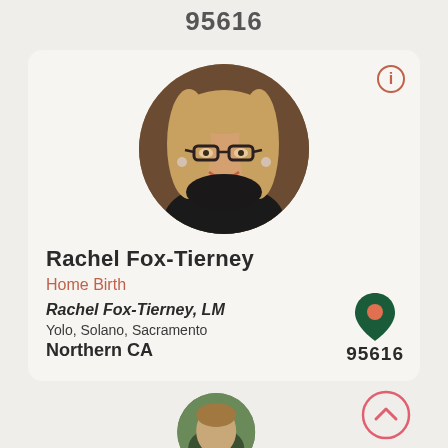95616
[Figure (photo): Circular profile photo of Rachel Fox-Tierney, a woman with blonde hair and glasses, smiling]
Rachel Fox-Tierney
Home Birth
Rachel Fox-Tierney, LM
Yolo, Solano, Sacramento
Northern CA
95616
[Figure (photo): Partial circular profile photo at the bottom of the page, blurred, showing a person outdoors]